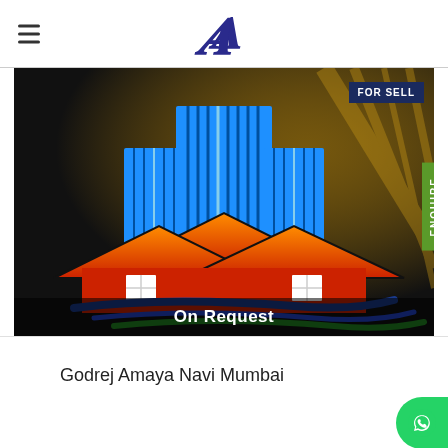A
[Figure (illustration): Real estate property listing image showing a stylized logo with blue skyscraper buildings and red/orange rooftop houses on a dark background with golden light rays. Shows 'FOR SELL' badge and 'ENQUIRE' tab. Price shown as 'On Request'.]
Godrej Amaya Navi Mumbai